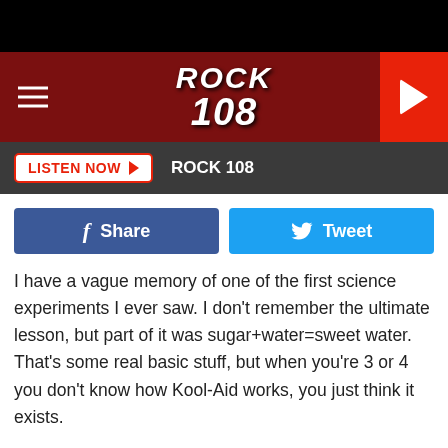ROCK 108
LISTEN NOW  ROCK 108
[Figure (screenshot): Facebook Share button and Twitter Tweet button]
I have a vague memory of one of the first science experiments I ever saw. I don't remember the ultimate lesson, but part of it was sugar+water=sweet water.  That's some real basic stuff, but when you're 3 or 4 you don't know how Kool-Aid works, you just think it exists.

Let's do a bit tougher one.  Take a glass of water and try to float an egg in it. It will sink.  Now, start adding salt to that water (about six tablespoons).  Now try to float the egg on it.